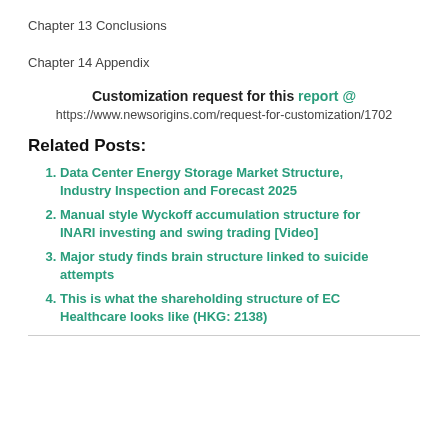Chapter 13 Conclusions
Chapter 14 Appendix
Customization request for this report @
https://www.newsorigins.com/request-for-customization/1702
Related Posts:
Data Center Energy Storage Market Structure, Industry Inspection and Forecast 2025
Manual style Wyckoff accumulation structure for INARI investing and swing trading [Video]
Major study finds brain structure linked to suicide attempts
This is what the shareholding structure of EC Healthcare looks like (HKG: 2138)